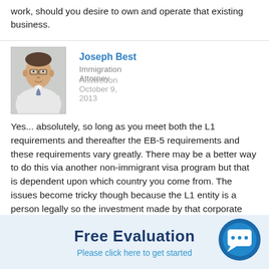work, should you desire to own and operate that existing business.
[Figure (photo): Headshot photo of Joseph Best, Immigration Attorney]
Joseph Best
Immigration Attorney  Answer on October 9, 2013
Yes... absolutely, so long as you meet both the L1 requirements and thereafter the EB-5 requirements and these requirements vary greatly. There may be a better way to do this via another non-immigrant visa program but that is dependent upon which country you come from. The issues become tricky though because the L1 entity is a person legally so the investment made by that corporate person is not the
Free Evaluation
Please click here to get started